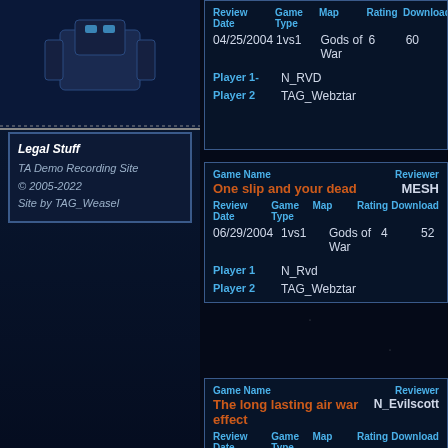[Figure (screenshot): Left sidebar robot/mech image with dark blue starfield background]
Legal Stuff
TA Demo Recording Site
© 2005-2022
Site by TAG_Weasel
| Review Date | Game Type | Map | Rating | Download |
| --- | --- | --- | --- | --- |
| 04/25/2004 | 1vs1 | Gods of War | 6 | 60 |
Player 1-  N_RVD
Player 2   TAG_Webztar
| Game Name | Reviewer |
| --- | --- |
| One slip and your dead | MESH |
| Review Date | Game Type | Map | Rating | Download |
| --- | --- | --- | --- | --- |
| 06/29/2004 | 1vs1 | Gods of War | 4 | 52 |
Player 1   N_Rvd
Player 2   TAG_Webztar
| Game Name | Reviewer |
| --- | --- |
| The long lasting air war effect | N_Evilscott |
| Review Date | Game Type | Map | Rating | Download |
| --- | --- | --- | --- | --- |
| 12/07/2005 | 1vs1 | Cluster Freak | 9 | 166 |